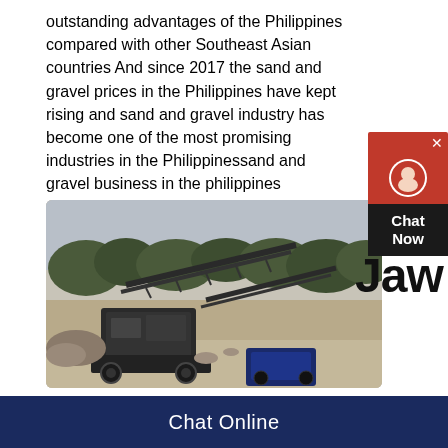outstanding advantages of the Philippines compared with other Southeast Asian countries And since 2017 the sand and gravel prices in the Philippines have kept rising and sand and gravel industry has become one of the most promising industries in the Philippinessand and gravel business in the philippines
[Figure (photo): Outdoor photo of a jaw crusher and conveyor belt machinery at a quarry or mining site, with trees and open land in the background.]
Jaw
Chat Online